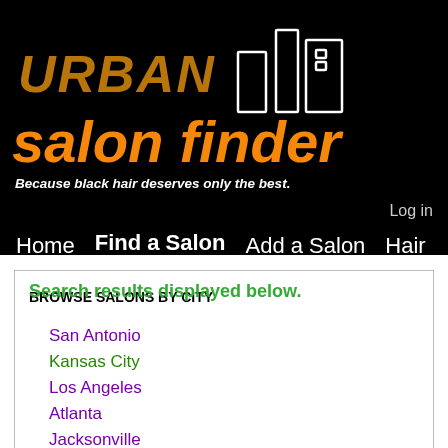[Figure (logo): Urban Salon Finder logo with building skyline illustration on black background]
Because black hair deserves only the best.
Log in
Home   Find a Salon   Add a Salon   Hair Tips   Salon Reviews   Hair Pictures
Search results displayed below.
BROWSE SALONS BY CITY
San Antonio
Kansas City
Los Angeles
Atlanta
Jacksonville
Las Vegas